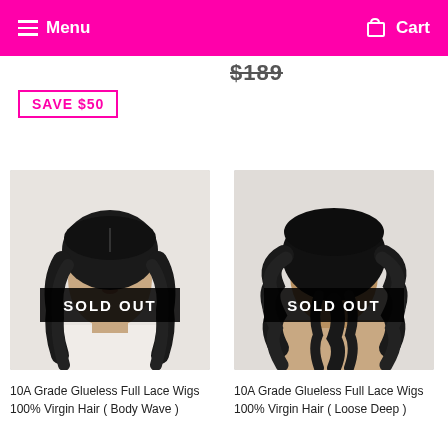Menu  Cart
$189
SAVE $50
[Figure (photo): Mannequin head wearing a long wavy black wig (Body Wave style), with SOLD OUT overlay badge]
10A Grade Glueless Full Lace Wigs 100% Virgin Hair ( Body Wave )
[Figure (photo): Back view of mannequin head wearing a long curly black wig (Loose Deep style), with SOLD OUT overlay badge]
10A Grade Glueless Full Lace Wigs 100% Virgin Hair ( Loose Deep )